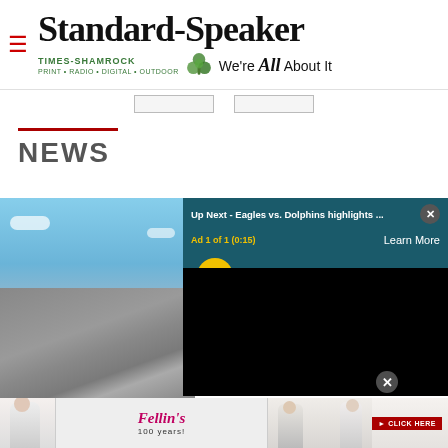Standard-Speaker — Times-Shamrock Print · Radio · Digital · Outdoor — We're All About It
NEWS
[Figure (screenshot): Newspaper website screenshot showing Standard-Speaker masthead with Times-Shamrock branding, a NEWS section header, a partial photo of a building with metal roof and blue sky, overlaid with a video player popup showing 'Up Next - Eagles vs. Dolphins highlights ...' with an ad counter 'Ad 1 of 1 (0:15)' and Learn More button, mute button in yellow circle, and a bottom banner ad for Fellin's 100 years with people wearing jewelry.]